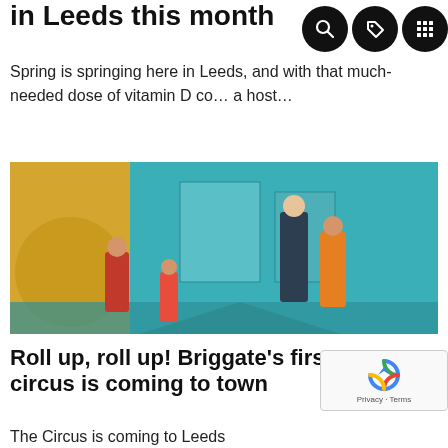in Leeds this month
Spring is springing here in Leeds, and with that much-needed dose of vitamin D co… a host…
[Figure (photo): Circus performers on a colourful stage with teal and yellow backdrop]
Roll up, roll up! Briggate's first ever circus is coming to town
The Circus is coming to Leeds